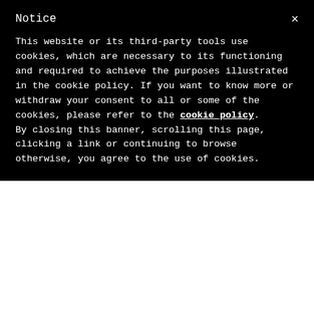Notice
This website or its third-party tools use cookies, which are necessary to its functioning and required to achieve the purposes illustrated in the cookie policy. If you want to know more or withdraw your consent to all or some of the cookies, please refer to the cookie policy.
By closing this banner, scrolling this page, clicking a link or continuing to browse otherwise, you agree to the use of cookies.
MARKETING AUTOMATION, MARKETING TECHNOLOGY, DIGITAL MARKETING, PROFESSIONAL SERVICES, MARKETING ORGANIZATION, FINANCIAL SERVICES
The Acceleration of